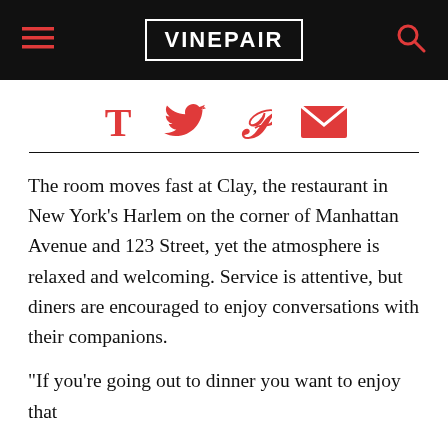VINEPAIR
[Figure (infographic): Four social sharing icons in red: T (text/share), Twitter bird, Pinterest P, envelope/email]
The room moves fast at Clay, the restaurant in New York's Harlem on the corner of Manhattan Avenue and 123 Street, yet the atmosphere is relaxed and welcoming. Service is attentive, but diners are encouraged to enjoy conversations with their companions.
“If you’re going out to dinner you want to enjoy that